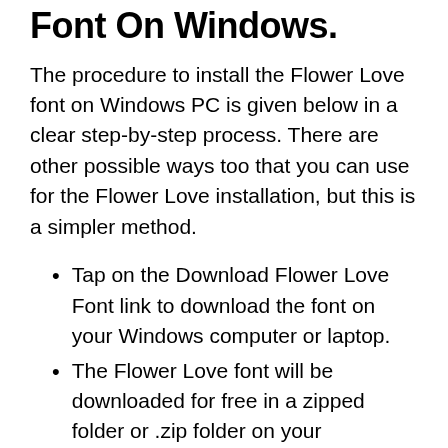Font On Windows.
The procedure to install the Flower Love font on Windows PC is given below in a clear step-by-step process. There are other possible ways too that you can use for the Flower Love installation, but this is a simpler method.
Tap on the Download Flower Love Font link to download the font on your Windows computer or laptop.
The Flower Love font will be downloaded for free in a zipped folder or .zip folder on your computer.
Now, go ahead, and unpack the zipped folder in a new folder.